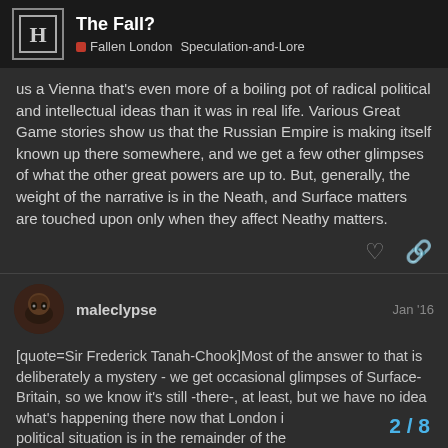The Fall? | Fallen London | Speculation-and-Lore
us a Vienna that's even more of a boiling pot of radical political and intellectual ideas than it was in real life. Various Great Game stories show us that the Russian Empire is making itself known up there somewhere, and we get a few other glimpses of what the other great powers are up to. But, generally, the weight of the narrative is in the Neath, and Surface matters are touched upon only when they affect Neathy matters.
maleclypse  Jan '16
[quote=Sir Frederick Tanah-Chook]Most of the answer to that is deliberately a mystery - we get occasional glimpses of Surface-Britain, so we know it's still -there-, at least, but we have no idea what's happening there now that London is  political situation is in the remainder of the
2 / 8